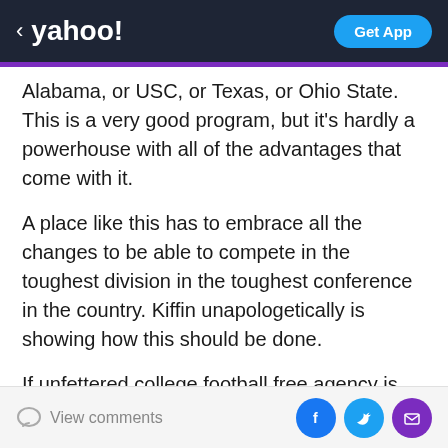< yahoo! | Get App
Alabama, or USC, or Texas, or Ohio State. This is a very good program, but it’s hardly a powerhouse with all of the advantages that come with it.
A place like this has to embrace all the changes to be able to compete in the toughest division in the toughest conference in the country. Kiffin unapologetically is showing how this should be done.
If unfettered college football free agency is kosher, let’s eat.
Meanwhile, lost in all the Lane Kiffiness is that he’s a whale of a coach.
View comments